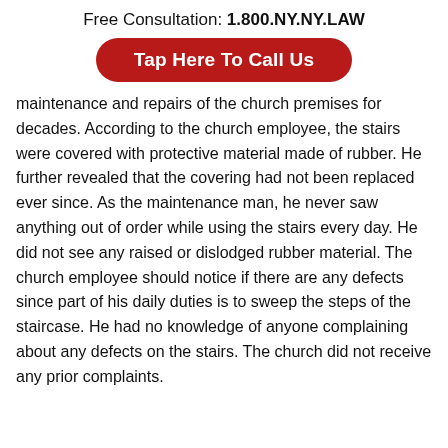Free Consultation: 1.800.NY.NY.LAW
Tap Here To Call Us
maintenance and repairs of the church premises for decades. According to the church employee, the stairs were covered with protective material made of rubber. He further revealed that the covering had not been replaced ever since. As the maintenance man, he never saw anything out of order while using the stairs every day. He did not see any raised or dislodged rubber material. The church employee should notice if there are any defects since part of his daily duties is to sweep the steps of the staircase. He had no knowledge of anyone complaining about any defects on the stairs. The church did not receive any prior complaints.